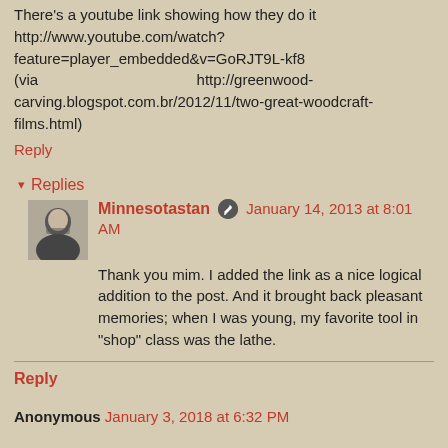There's a youtube link showing how they do it http://www.youtube.com/watch?feature=player_embedded&v=GoRJT9L-kf8 (via http://greenwood-carving.blogspot.com.br/2012/11/two-great-woodcraft-films.html)
Reply
▾ Replies
Minnesotastan  January 14, 2013 at 8:01 AM
Thank you mim. I added the link as a nice logical addition to the post. And it brought back pleasant memories; when I was young, my favorite tool in "shop" class was the lathe.
Reply
Anonymous January 3, 2018 at 6:32 PM